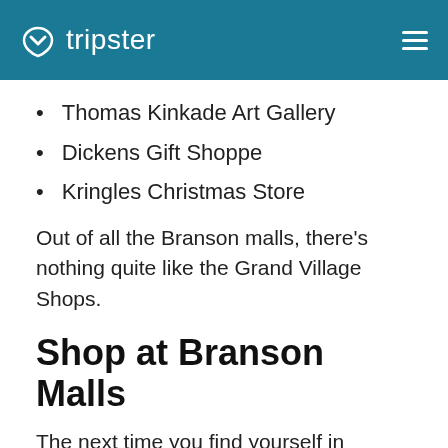tripster
Thomas Kinkade Art Gallery
Dickens Gift Shoppe
Kringles Christmas Store
Out of all the Branson malls, there's nothing quite like the Grand Village Shops.
Shop at Branson Malls
The next time you find yourself in Branson, MO, make sure you stop to shop at one of the incredible malls.